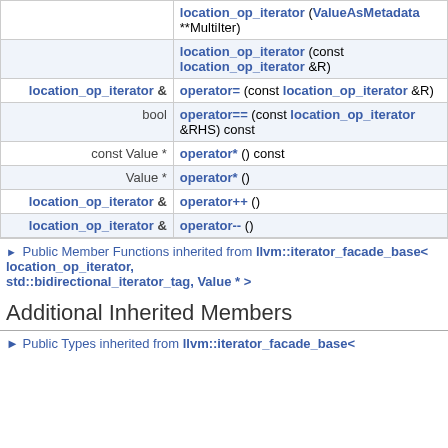| Return | Function |
| --- | --- |
|  | location_op_iterator (ValueAsMetadata **MultiIter) |
|  | location_op_iterator (const location_op_iterator &R) |
| location_op_iterator & | operator= (const location_op_iterator &R) |
| bool | operator== (const location_op_iterator &RHS) const |
| const Value * | operator* () const |
| Value * | operator* () |
| location_op_iterator & | operator++ () |
| location_op_iterator & | operator-- () |
▸ Public Member Functions inherited from llvm::iterator_facade_base< location_op_iterator, std::bidirectional_iterator_tag, Value * >
Additional Inherited Members
▸ Public Types inherited from llvm::iterator_facade_base<